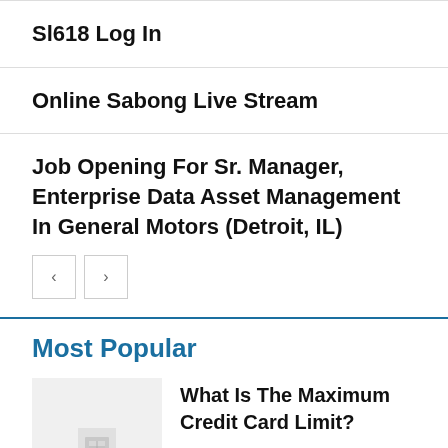Sl618 Log In
Online Sabong Live Stream
Job Opening For Sr. Manager, Enterprise Data Asset Management In General Motors (Detroit, IL)
Most Popular
What Is The Maximum Credit Card Limit?